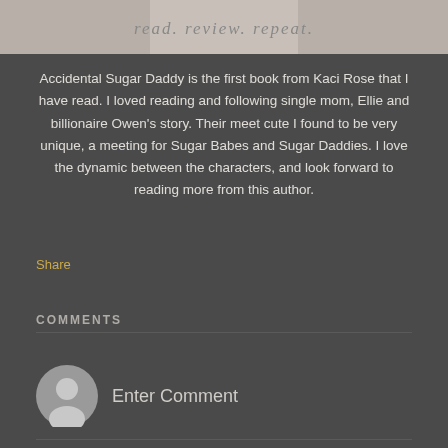[Figure (photo): Top banner image showing a book blog header with 'read. review. repeat.' text overlay on a light background]
Accidental Sugar Daddy is the first book from Kaci Rose that I have read. I loved reading and following single mom, Ellie and billionaire Owen's story. Their meet cute I found to be very unique, a meeting for Sugar Babes and Sugar Daddies. I love the dynamic between the characters, and look forward to reading more from this author.
Share
COMMENTS
Enter Comment